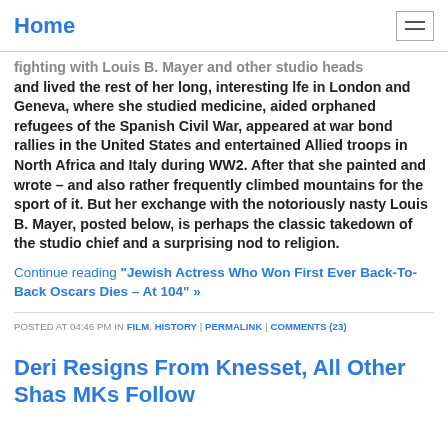Home
fighting with Louis B. Mayer and other studio heads and lived the rest of her long, interesting lfe in London and Geneva, where she studied medicine, aided orphaned refugees of the Spanish Civil War, appeared at war bond rallies in the United States and entertained Allied troops in North Africa and Italy during WW2. After that she painted and wrote – and also rather frequently climbed mountains for the sport of it. But her exchange with the notoriously nasty Louis B. Mayer, posted below, is perhaps the classic takedown of the studio chief and a surprising nod to religion.
Continue reading "Jewish Actress Who Won First Ever Back-To-Back Oscars Dies – At 104" »
POSTED AT 04:46 PM IN FILM, HISTORY | PERMALINK | COMMENTS (23)
Deri Resigns From Knesset, All Other Shas MKs Follow